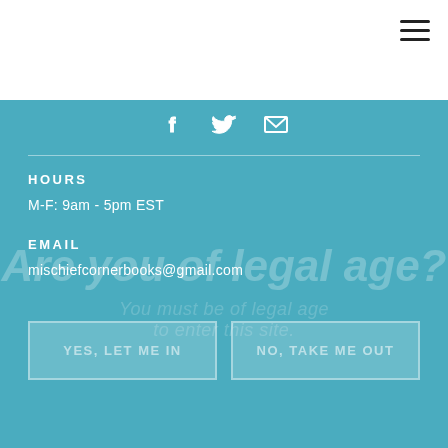[Figure (other): Hamburger menu icon (three horizontal lines) in top right corner]
[Figure (other): Social media icons: Facebook (F), Twitter (bird), and Email (envelope) centered near top of teal section]
HOURS
M-F: 9am - 5pm EST
EMAIL
mischiefcornerbooks@gmail.com
[Figure (other): Age verification overlay: large italic text 'Are you of legal age?' with sub-text partially visible, and two button outlines at bottom]